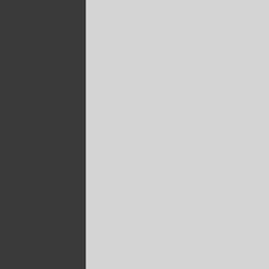prepared to have the FED c
'SUPER' CURRENCY
Some countries I feel, reco behind the move to use the "super currency" [proposed exposure to the risk of hold NWO.  Whatever the result, revaluation of all things t
The questions to ask are; w when the FED collapses?
AUTHORITARIAN CONTR
Why Don't People See 02-1
I meet people that still belie
The US governmer
Government cares
The economy cann
We are not in a rec
The lives of their ch
The government ca
Despite these untenable b well — doctors, lawyers, de